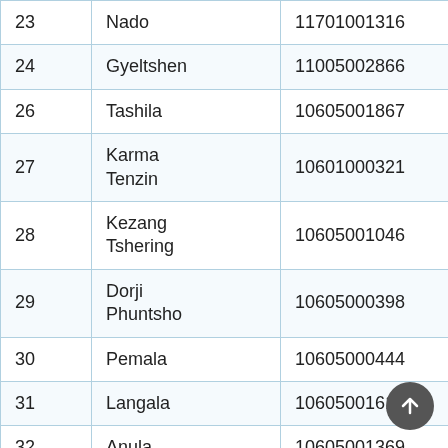| 23 | Nado | 11701001316 | RBA/Peljab |
| 24 | Gyeltshen | 11005002866 | RBA/Chuma |
| 26 | Tashila | 10605001867 | RBA/Chuma |
| 27 | Karma Tenzin | 10601000321 | RBA/Chuma |
| 28 | Kezang Tshering | 10605001046 | RBA/Peljab |
| 29 | Dorji Phuntsho | 10605000398 | RBA/Chuma |
| 30 | Pemala | 10605000444 | RBG/Gopa |
| 31 | Langala | 10605001617 | RBA/Chuma |
| 32 | Anula | 10605001369 | RBA/Peljab |
| 33 | Kunzang Jatsho | 10605001520 | RBA/Chuma |